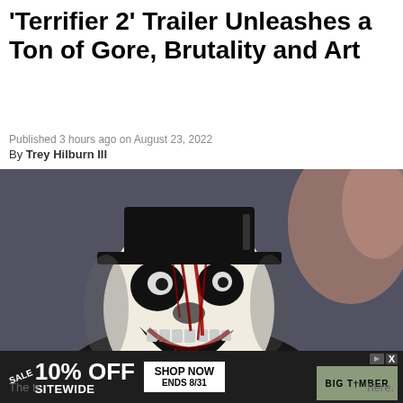'Terrifier 2' Trailer Unleashes a Ton of Gore, Brutality and Art
Published 3 hours ago on August 23, 2022
By Trey Hilburn III
[Figure (photo): Close-up photo of Art the Clown from Terrifier 2 — a horror character with a painted white and black face covered in blood, wearing a black top hat, mouth open showing dark teeth, with a blurred background]
[Figure (infographic): Advertisement banner: dark background with 'SALE 10% OFF SITEWIDE' text, 'SHOP NOW ENDS 8/31' button, and Big Timber brand image with gazebo]
The tr                                                    here.